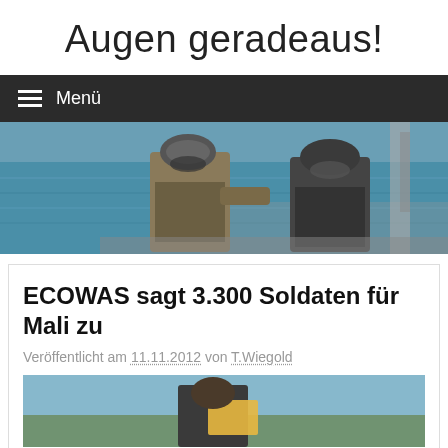Augen geradeaus!
Menü
[Figure (photo): Two soldiers in camouflage gear with helmets and goggles on a military boat at sea]
ECOWAS sagt 3.300 Soldaten für Mali zu
Veröffentlicht am 11.11.2012 von T.Wiegold
[Figure (photo): Partial view of a person in military gear, partially cropped at bottom of page]